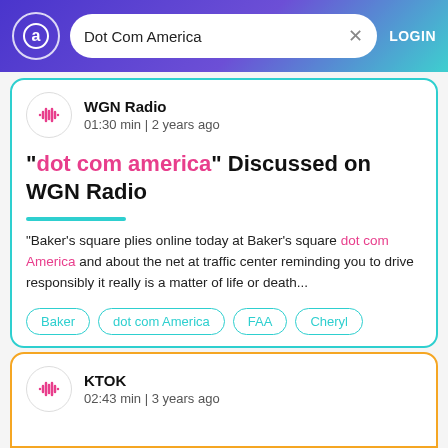Dot Com America  LOGIN
WGN Radio
01:30 min | 2 years ago
"dot com america" Discussed on WGN Radio
"Baker's square plies online today at Baker's square dot com America and about the net at traffic center reminding you to drive responsibly it really is a matter of life or death...
Baker
dot com America
FAA
Cheryl
KTOK
02:43 min | 3 years ago